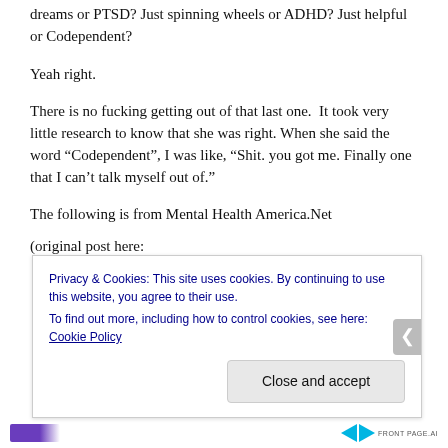dreams or PTSD? Just spinning wheels or ADHD? Just helpful or Codependent?
Yeah right.
There is no fucking getting out of that last one.  It took very little research to know that she was right. When she said the word “Codependent”, I was like, “Shit. you got me. Finally one that I can’t talk myself out of.”
The following is from Mental Health America.Net
(original post here:
Privacy & Cookies: This site uses cookies. By continuing to use this website, you agree to their use.
To find out more, including how to control cookies, see here: Cookie Policy
Close and accept